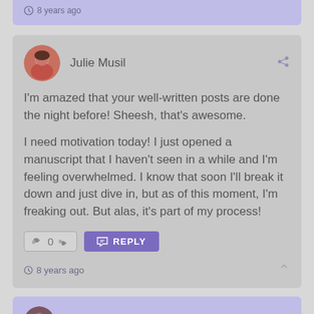8 years ago
[Figure (photo): Circular avatar photo of Julie Musil, a woman with dark hair]
Julie Musil
I'm amazed that your well-written posts are done the night before! Sheesh, that's awesome.

I need motivation today! I just opened a manuscript that I haven't seen in a while and I'm feeling overwhelmed. I know that soon I'll break it down and just dive in, but as of this moment, I'm freaking out. But alas, it's part of my process!
0
REPLY
8 years ago
[Figure (photo): Circular avatar photo of Jami Gold]
Jami Gold